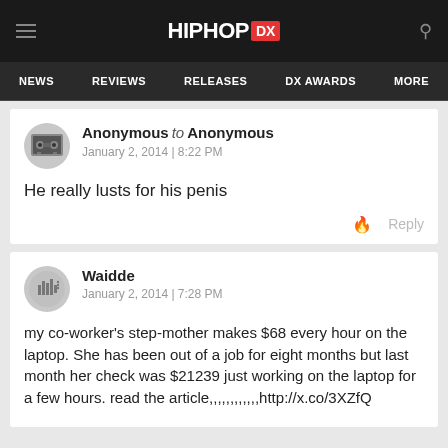HIPHOP DX — NEWS | REVIEWS | RELEASES | DX AWARDS | MORE
Anonymous to Anonymous
January 2, 2014 | 8:22 PM

He really lusts for his penis
Waidde
January 2, 2014 | 7:28 PM

my co-worker's step-mother makes $68 every hour on the laptop. She has been out of a job for eight months but last month her check was $21239 just working on the laptop for a few hours. read the article,,,,,,,,,,,,http://x.co/3XZfQ